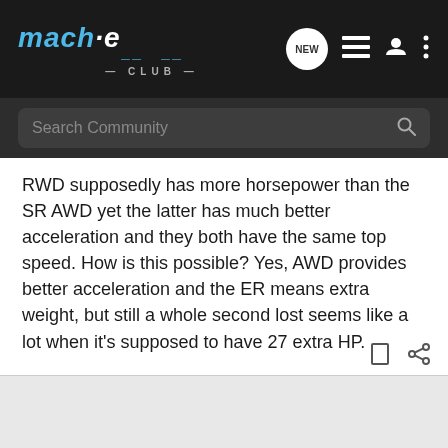[Figure (screenshot): Mach-E Club website header with logo, NEW button, list icon, user icon, and more options icon]
[Figure (screenshot): Search Community search bar]
RWD supposedly has more horsepower than the SR AWD yet the latter has much better acceleration and they both have the same top speed. How is this possible? Yes, AWD provides better acceleration and the ER means extra weight, but still a whole second lost seems like a lot when it's supposed to have 27 extra HP.
Also, the ER AWD has 77 extra HP but the same acceleration and top speed with the SR. Those must be some heavy batteries!